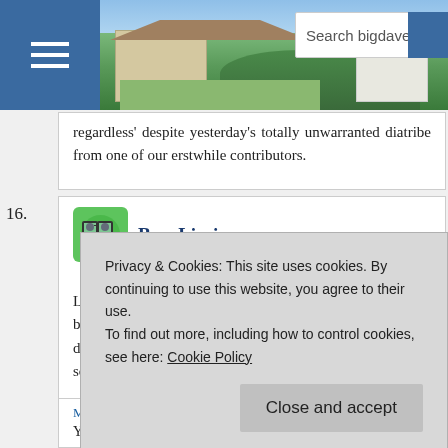[Figure (screenshot): Website header with landscape photo, hamburger menu button, and search bar reading 'Search bigdave44.c']
regardless' despite yesterday’s totally unwarranted diatribe from one of our erstwhile contributors.
BusyLizzie
March 18, 2017 at 3:14 pm
Lovely puzzle, just right accompaniment to my Saturday breakfast, would give it a **/****. Good clues, and difficult to pick a favorite, but probably 5d. Have to find something th ng nd
Privacy & Cookies: This site uses cookies. By continuing to use this website, you agree to their use.
To find out more, including how to control cookies, see here: Cookie Policy
Close and accept
March 18, 2017 at 3:21 pm
You are so right! I’m celebrating being able to get in the